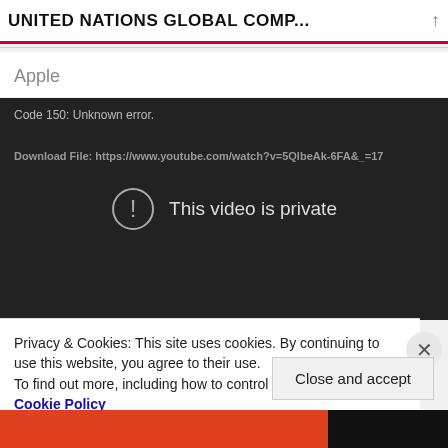UNITED NATIONS GLOBAL COMP...
Apple
[Figure (screenshot): Embedded YouTube video player showing error: 'Code 150: Unknown error.' with download file URL 'https://www.youtube.com/watch?v=5QlbeAk-6FA&_=17' and a central message 'This video is private' with an exclamation icon.]
Privacy & Cookies: This site uses cookies. By continuing to use this website, you agree to their use.
To find out more, including how to control cookies, see here:
Cookie Policy
Close and accept